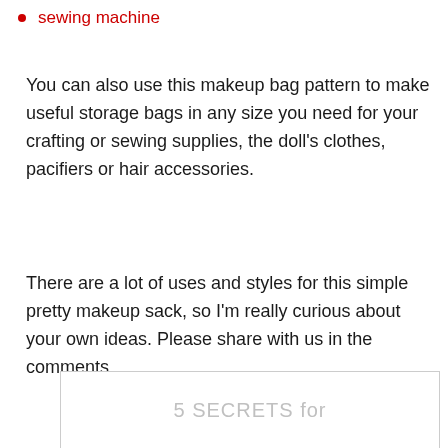sewing machine
You can also use this makeup bag pattern to make useful storage bags in any size you need for your crafting or sewing supplies, the doll’s clothes, pacifiers or hair accessories.
There are a lot of uses and styles for this simple pretty makeup sack, so I’m really curious about your own ideas. Please share with us in the comments.
[Figure (other): Partial view of a box/widget with text '5 SECRETS for' in light gray]